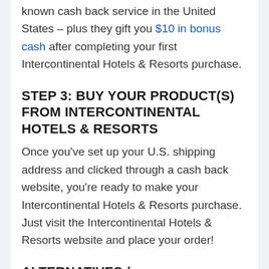known cash back service in the United States – plus they gift you $10 in bonus cash after completing your first Intercontinental Hotels & Resorts purchase.
STEP 3: BUY YOUR PRODUCT(S) FROM INTERCONTINENTAL HOTELS & RESORTS
Once you've set up your U.S. shipping address and clicked through a cash back website, you're ready to make your Intercontinental Hotels & Resorts purchase. Just visit the Intercontinental Hotels & Resorts website and place your order!
ALTERNATIVES / TROUBLESHOOTING: ISSUES